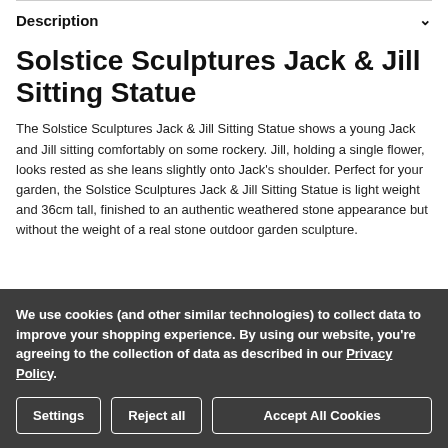Description
Solstice Sculptures Jack & Jill Sitting Statue
The Solstice Sculptures Jack & Jill Sitting Statue shows a young Jack and Jill sitting comfortably on some rockery. Jill, holding a single flower, looks rested as she leans slightly onto Jack's shoulder. Perfect for your garden, the Solstice Sculptures Jack & Jill Sitting Statue is light weight and 36cm tall, finished to an authentic weathered stone appearance but without the weight of a real stone outdoor garden sculpture.
We use cookies (and other similar technologies) to collect data to improve your shopping experience. By using our website, you're agreeing to the collection of data as described in our Privacy Policy.